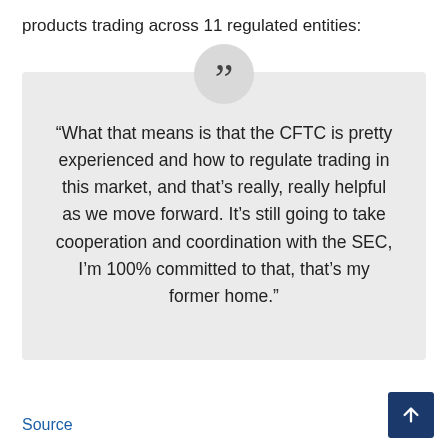products trading across 11 regulated entities:
“What that means is that the CFTC is pretty experienced and how to regulate trading in this market, and that’s really, really helpful as we move forward. It’s still going to take cooperation and coordination with the SEC, I’m 100% committed to that, that’s my former home.”
Source